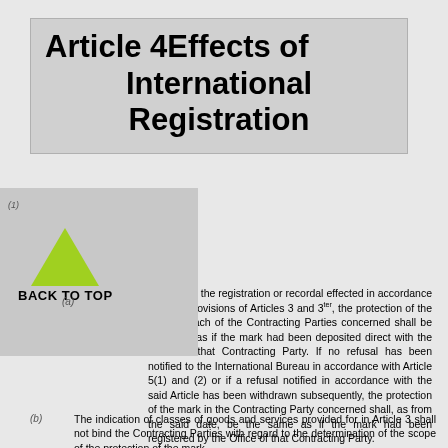Article 4Effects of International Registration
[Figure (other): Gray overlay box with green triangle and BACK TO TOP label]
(1)
(a) From the date of the registration or recordal effected in accordance with the provisions of Articles 3 and 3ter, the protection of the mark in each of the Contracting Parties concerned shall be the same as if the mark had been deposited direct with the Office of that Contracting Party. If no refusal has been notified to the International Bureau in accordance with Article 5(1) and (2) or if a refusal notified in accordance with the said Article has been withdrawn subsequently, the protection of the mark in the Contracting Party concerned shall, as from the said date, be the same as if the mark had been registered by the Office of that Contracting Party.
(b) The indication of classes of goods and services provided for in Article 3 shall not bind the Contracting Parties with regard to the determination of the scope of the protection of the mark.